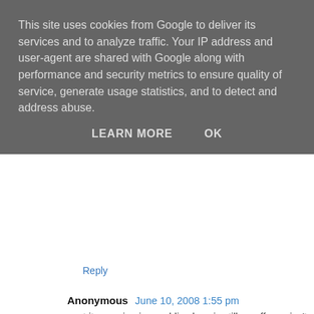This site uses cookies from Google to deliver its services and to analyze traffic. Your IP address and user-agent are shared with Google along with performance and security metrics to ensure quality of service, generate usage statistics, and to detect and address abuse.
LEARN MORE   OK
Reply
Anonymous June 10, 2008 1:55 pm
post it -- peeing in a public place is still an offence isn't it????
Reply
[Figure (illustration): Small cartoon avatar of a person (Dan)]
Dan June 10, 2008 3:55 pm
Sam: 2 Girls 1 Cup is classic - though a certain Aussie wench sent me something rather amusing that kinda gross too - lemmie know your email and I'll send - have to share that kinda thing :)